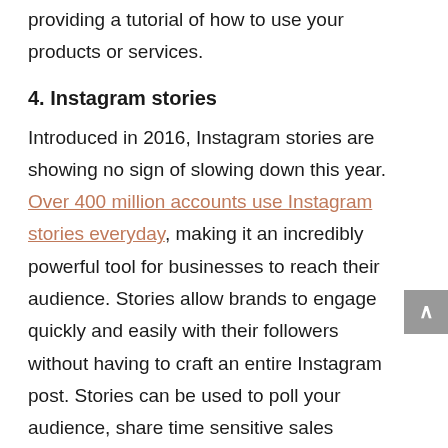providing a tutorial of how to use your products or services.
4. Instagram stories
Introduced in 2016, Instagram stories are showing no sign of slowing down this year. Over 400 million accounts use Instagram stories everyday, making it an incredibly powerful tool for businesses to reach their audience. Stories allow brands to engage quickly and easily with their followers without having to craft an entire Instagram post. Stories can be used to poll your audience, share time sensitive sales offers,